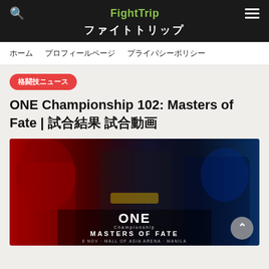FightTrip ファイトトリップ
ホーム　プロフィールページ　プライバシーポリシー
格闘技ニュース
ONE Championship 102: Masters of Fate | 試合結果 試合動画
[Figure (photo): ONE Championship 102: Masters of Fate promotional poster featuring fighters against red and blue background with text 'ONE Championship MASTERS OF FATE 8 NOV · MALL OF ASIA ARENA · MANILA']